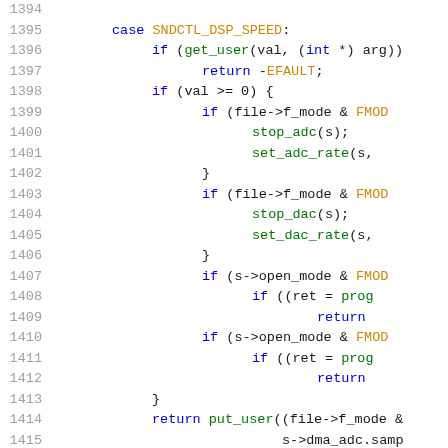Source code listing lines 1394-1415, C code for audio DSP speed control